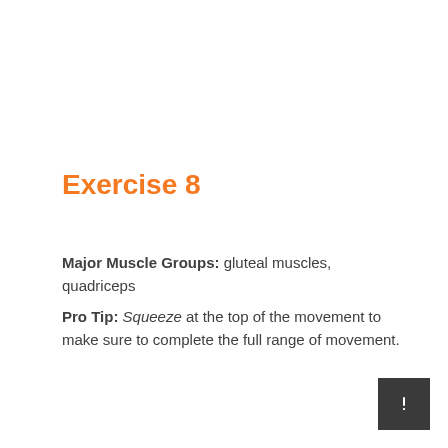Exercise 8
Major Muscle Groups: gluteal muscles, quadriceps
Pro Tip: Squeeze at the top of the movement to make sure to complete the full range of movement.